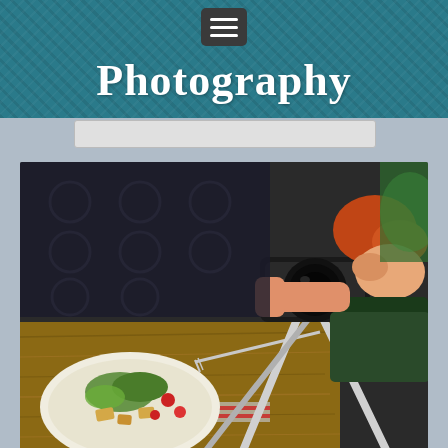Photography
[Figure (photo): A red-haired photographer leaning over a table with a camera on a tripod, photographing a plate of food (salad with tomatoes and croutons). The scene is in a restaurant or studio setting.]
History of the profession of the photographer
A photographer is a person capable of capturing amazing moments of life with a camera and preserving a particle of